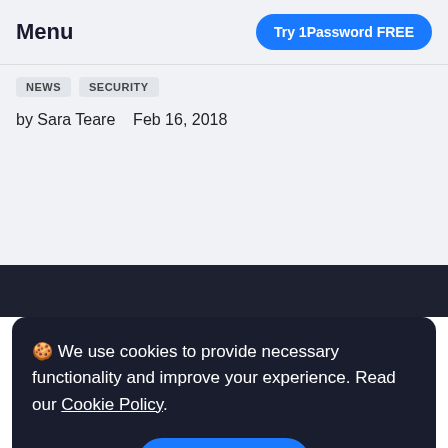Menu
Try 1Password FREE
NEWS   SECURITY
by Sara Teare   Feb 16, 2018
🍪 We use cookies to provide necessary functionality and improve your experience. Read our Cookie Policy.
OK